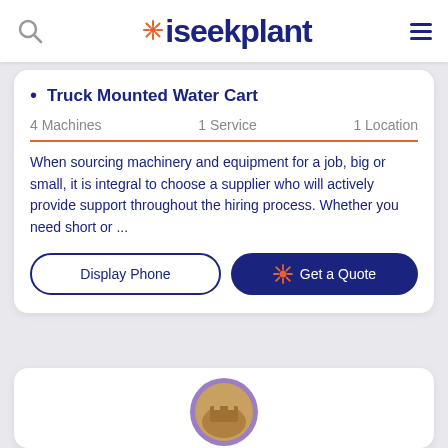iseekplant
Truck Mounted Water Cart
4 Machines  1 Service  1 Location
When sourcing machinery and equipment for a job, big or small, it is integral to choose a supplier who will actively provide support throughout the hiring process. Whether you need short or ...
Display Phone
Get a Quote
[Figure (photo): Circular avatar with construction site aerial photo, surrounded by purple border, partially visible at bottom of page]